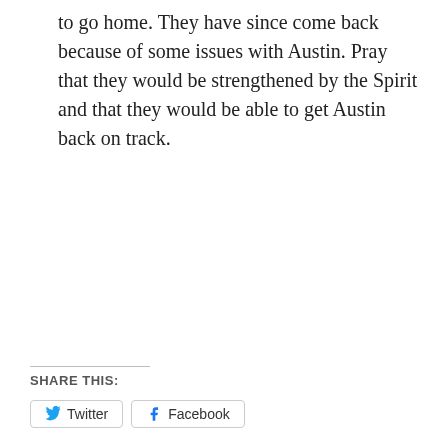to go home. They have since come back because of some issues with Austin. Pray that they would be strengthened by the Spirit and that they would be able to get Austin back on track.
SHARE THIS:
Twitter  Facebook